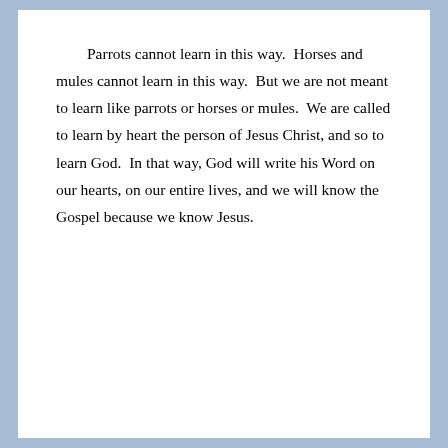Parrots cannot learn in this way.  Horses and mules cannot learn in this way.  But we are not meant to learn like parrots or horses or mules.  We are called to learn by heart the person of Jesus Christ, and so to learn God.  In that way, God will write his Word on our hearts, on our entire lives, and we will know the Gospel because we know Jesus.